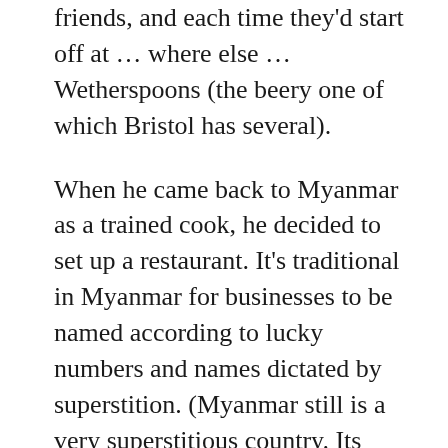friends, and each time they'd start off at … where else … Wetherspoons (the beery one of which Bristol has several).
When he came back to Myanmar as a trained cook, he decided to set up a restaurant. It's traditional in Myanmar for businesses to be named according to lucky numbers and names dictated by superstition. (Myanmar still is a very superstitious country. Its government once changed all denominations of bank notes to end in 9 because 9 is a lucky number.) Some of Myanmar's superstitions come from a secondary belief system about spirits called nats.
In order to breakaway away from those traditions and superstition that he felt was holding things back, he named his business Weathe... [continues]